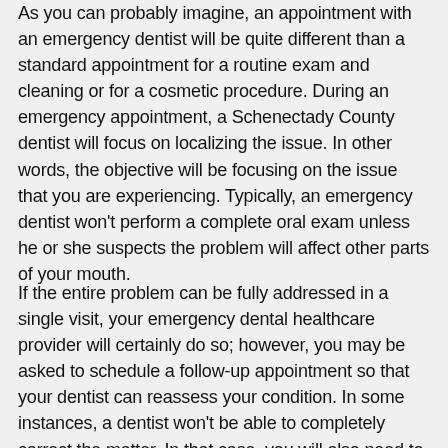As you can probably imagine, an appointment with an emergency dentist will be quite different than a standard appointment for a routine exam and cleaning or for a cosmetic procedure. During an emergency appointment, a Schenectady County dentist will focus on localizing the issue. In other words, the objective will be focusing on the issue that you are experiencing. Typically, an emergency dentist won't perform a complete oral exam unless he or she suspects the problem will affect other parts of your mouth.
If the entire problem can be fully addressed in a single visit, your emergency dental healthcare provider will certainly do so; however, you may be asked to schedule a follow-up appointment so that your dentist can reassess your condition. In some instances, a dentist won't be able to completely correct the matter. In that case, you will also need to schedule additional appointments, as instructed by your dentist, or you may be referred to a specialist, such as an oral surgeon or a periodontist.